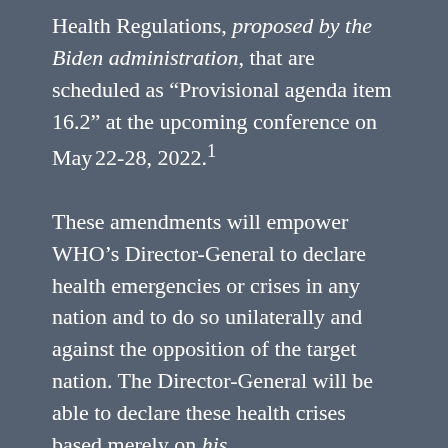Health Regulations, proposed by the Biden administration, that are scheduled as “Provisional agenda item 16.2” at the upcoming conference on May 22-28, 2022.¹
These amendments will empower WHO’s Director-General to declare health emergencies or crises in any nation and to do so unilaterally and against the opposition of the target nation. The Director-General will be able to declare these health crises based merely on his